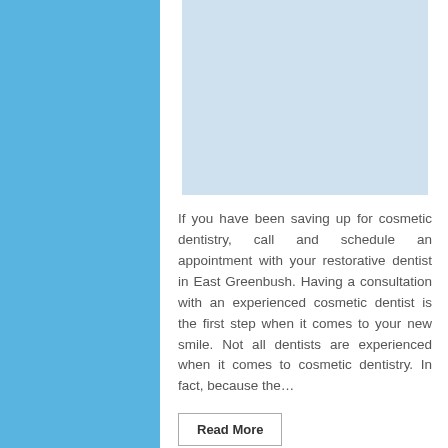[Figure (photo): Placeholder image area with light blue background, partially visible at top of card]
If you have been saving up for cosmetic dentistry, call and schedule an appointment with your restorative dentist in East Greenbush. Having a consultation with an experienced cosmetic dentist is the first step when it comes to your new smile. Not all dentists are experienced when it comes to cosmetic dentistry. In fact, because the…
Read More
Tags: cosmetic dentistry dentist New York
cosmetic dentistry East Greenbush
East Greenbush cosmetic dentistry dentist
New York dentist cosmetic dentistry